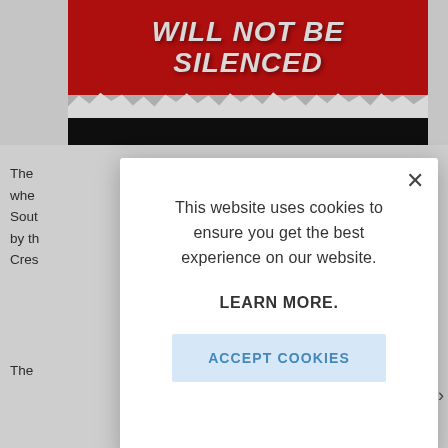[Figure (screenshot): Website screenshot showing a red banner with bold italic white text 'WILL NOT BE SILENCED' on red background with torn paper effect and black area below]
The
whe
Sout
by th
Cres
The
This website uses cookies to ensure you get the best experience on our website. LEARN MORE.
ACCEPT COOKIES